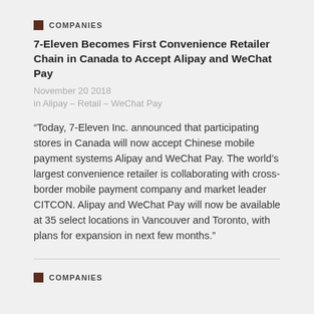COMPANIES
7-Eleven Becomes First Convenience Retailer Chain in Canada to Accept Alipay and WeChat Pay
November 20 2018
in Alipay - Retail - WeChat Pay
“Today, 7-Eleven Inc. announced that participating stores in Canada will now accept Chinese mobile payment systems Alipay and WeChat Pay. The world’s largest convenience retailer is collaborating with cross-border mobile payment company and market leader CITCON. Alipay and WeChat Pay will now be available at 35 select locations in Vancouver and Toronto, with plans for expansion in next few months.”
COMPANIES